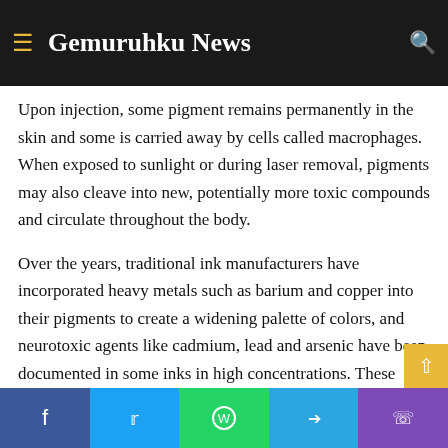Gemuruhku News
Upon injection, some pigment remains permanently in the skin and some is carried away by cells called macrophages. When exposed to sunlight or during laser removal, pigments may also cleave into new, potentially more toxic compounds and circulate throughout the body.
Over the years, traditional ink manufacturers have incorporated heavy metals such as barium and copper into their pigments to create a widening palette of colors, and neurotoxic agents like cadmium, lead and arsenic have been documented in some inks in high concentrations. These elements may also be found in so-called vegan inks, which merely exclude animal-derived glycerins and other ingredients.
Since 2015, Europe has required manufacturers to label inks